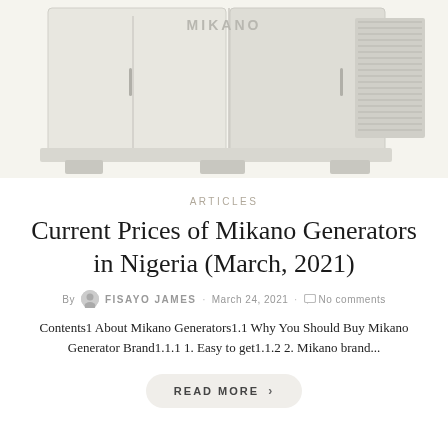[Figure (photo): White Mikano industrial generator unit photographed from a slightly elevated angle, showing the brand name MIKANO on the front panel, with ventilation grill on the right side]
ARTICLES
Current Prices of Mikano Generators in Nigeria (March, 2021)
By FISAYO JAMES · March 24, 2021 · No comments
Contents1 About Mikano Generators1.1 Why You Should Buy Mikano Generator Brand1.1.1 1. Easy to get1.1.2 2. Mikano brand...
READ MORE >